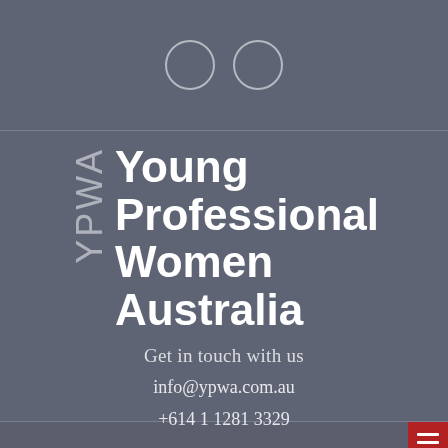[Figure (logo): Two overlapping circles outlined in white on a grey background, serving as a header graphic element]
[Figure (logo): YPWA logo with vertical YPWA text and stacked text reading Young Professional Women Australia in white on a dark grey background]
Get in touch with us
info@ypwa.com.au
+614 1 1281 3329
[Figure (other): Red hamburger menu button icon with three white horizontal lines on a red background in the bottom right corner]